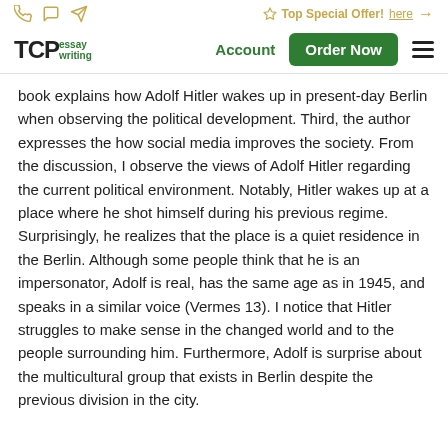Top Special Offer! here →
[Figure (logo): TCPessay writing logo with green Order Now button and Account link and hamburger menu]
book explains how Adolf Hitler wakes up in present-day Berlin when observing the political development. Third, the author expresses the how social media improves the society. From the discussion, I observe the views of Adolf Hitler regarding the current political environment. Notably, Hitler wakes up at a place where he shot himself during his previous regime. Surprisingly, he realizes that the place is a quiet residence in the Berlin. Although some people think that he is an impersonator, Adolf is real, has the same age as in 1945, and speaks in a similar voice (Vermes 13). I notice that Hitler struggles to make sense in the changed world and to the people surrounding him. Furthermore, Adolf is surprise about the multicultural group that exists in Berlin despite the previous division in the city.